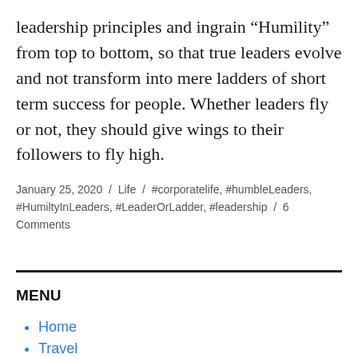leadership principles and ingrain “Humility” from top to bottom, so that true leaders evolve and not transform into mere ladders of short term success for people. Whether leaders fly or not, they should give wings to their followers to fly high.
January 25, 2020 / Life / #corporatelife, #humbleLeaders, #HumiltyInLeaders, #LeaderOrLadder, #leadership / 6 Comments
MENU
Home
Travel